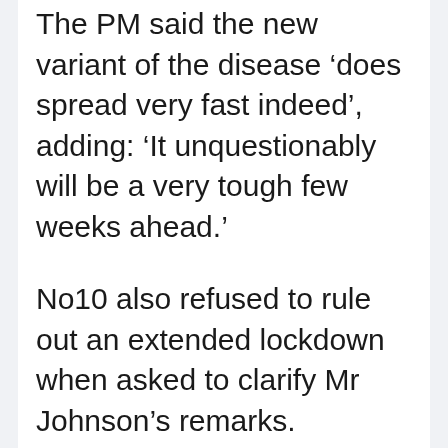The PM said the new variant of the disease 'does spread very fast indeed', adding: 'It unquestionably will be a very tough few weeks ahead.'
No10 also refused to rule out an extended lockdown when asked to clarify Mr Johnson's remarks.
Asked directly whether he could rule out the lockdown lasting into the summer, the PM's official